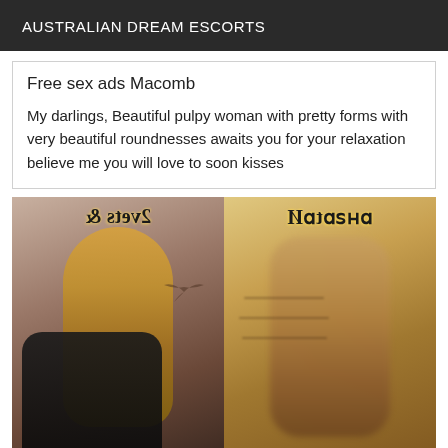AUSTRALIAN DREAM ESCORTS
Free sex ads Macomb
My darlings, Beautiful pulpy woman with pretty forms with very beautiful roundnesses awaits you for your relaxation believe me you will love to soon kisses
[Figure (photo): Two-panel image: left panel shows a woman with long blonde hair in a black outfit viewed from behind with mirrored text overlay reading 'Natasha & Steve'; right panel shows a blurred male torso with the same mirrored text overlay.]